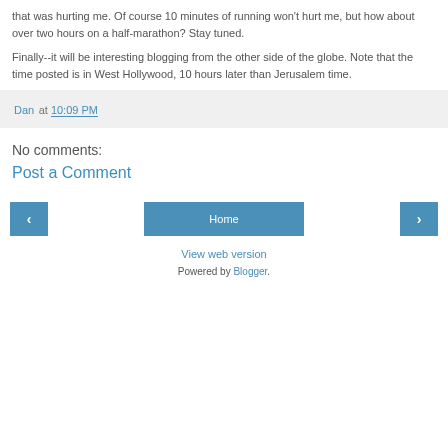that was hurting me. Of course 10 minutes of running won't hurt me, but how about over two hours on a half-marathon? Stay tuned.
Finally--it will be interesting blogging from the other side of the globe. Note that the time posted is in West Hollywood, 10 hours later than Jerusalem time.
Dan at 10:09 PM
No comments:
Post a Comment
‹
Home
›
View web version
Powered by Blogger.